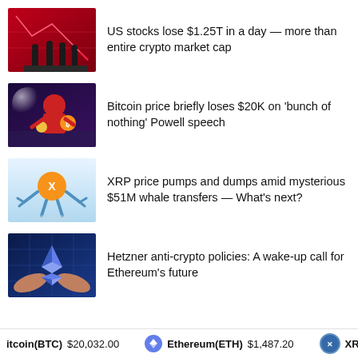[Figure (illustration): Silhouettes of people standing on a red stock chart background with arrows going down]
US stocks lose $1.25T in a day — more than entire crypto market cap
[Figure (illustration): Animated character with a red helmet holding Bitcoin coins in a stadium setting]
Bitcoin price briefly loses $20K on 'bunch of nothing' Powell speech
[Figure (illustration): Animated XRP coin character with robotic claws on a blue sky background]
XRP price pumps and dumps amid mysterious $51M whale transfers — What's next?
[Figure (illustration): Hands holding the Ethereum diamond logo against a blue grid background]
Hetzner anti-crypto policies: A wake-up call for Ethereum's future
itcoin(BTC) $20,032.00   Ethereum(ETH) $1,487.20   XRP(XR